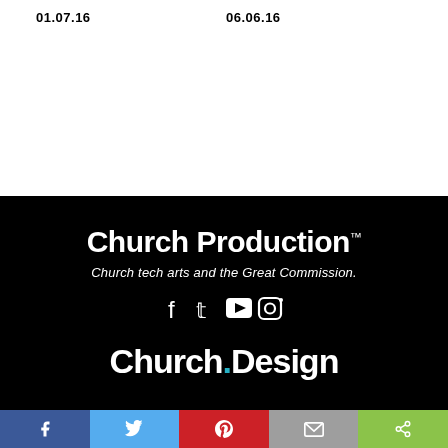01.07.16
06.06.16
Church Production™
Church tech arts and the Great Commission.
[Figure (illustration): Social media icons: Facebook, Twitter, YouTube, Instagram]
[Figure (logo): Church.Design logo in bold white text with teal dot on black background]
[Figure (illustration): Social sharing bar with Facebook (blue), Twitter (light blue), Pinterest (red), Email (gray), Share (green) icons]